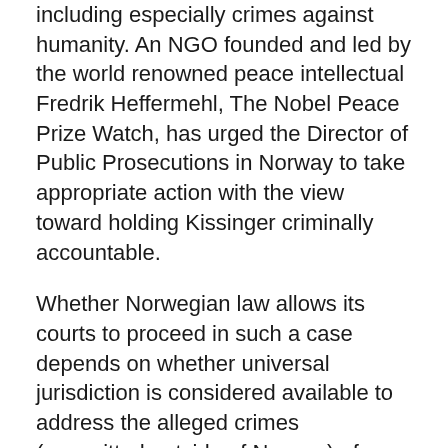including especially crimes against humanity. An NGO founded and led by the world renowned peace intellectual Fredrik Heffermehl, The Nobel Peace Prize Watch, has urged the Director of Public Prosecutions in Norway to take appropriate action with the view toward holding Kissinger criminally accountable.
Whether Norwegian law allows its courts to proceed in such a case depends on whether universal jurisdiction is considered available to address the alleged crimes (committed outside of Norway) of Kissinger. Because of the constraints surrounding the activity of the International Criminal Court, especially in dealing with the criminality of Western states, it is particularly important that national courts act as enforcement agents of the world community and end the impunity enjoyed by those who have so frequently and fragrantly violated international criminal law.